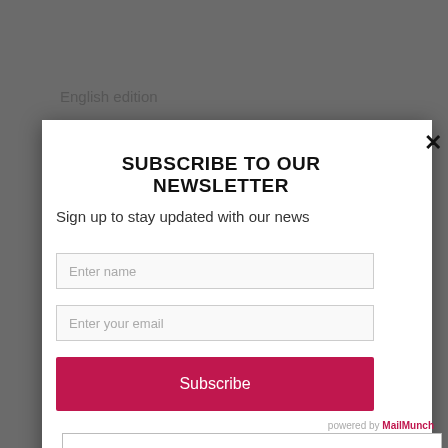English edition
SUBSCRIBE TO OUR NEWSLETTER
Sign up to stay updated with our news
Enter name
Enter your email
Subscribe
powered by MailMunch
DESCRIPTION & TABLE OF CONTENTS